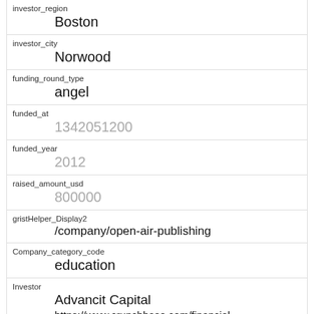| Field | Value |
| --- | --- |
| investor_region | Boston |
| investor_city | Norwood |
| funding_round_type | angel |
| funded_at | 1342051200 |
| funded_year | 2012 |
| raised_amount_usd | 800000 |
| gristHelper_Display2 | /company/open-air-publishing |
| Company_category_code | education |
| Investor | Advancit Capital
https://www.crunchbase.com/financial-organization/advancit-capital |